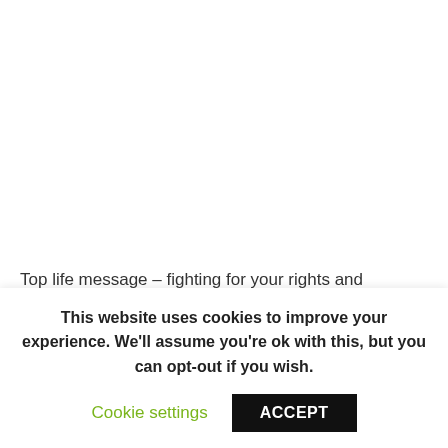Top life message – fighting for your rights and friendship
[Figure (other): Green rectangular button/bar element]
This website uses cookies to improve your experience. We'll assume you're ok with this, but you can opt-out if you wish.
Cookie settings
ACCEPT